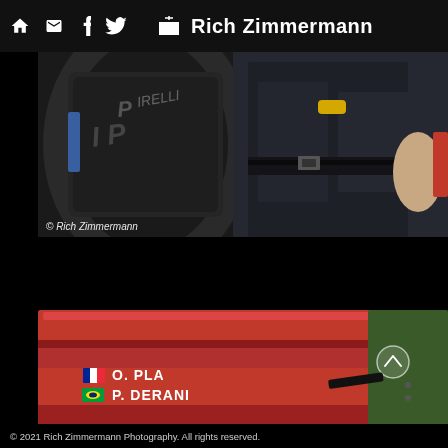Rich Zimmermann
[Figure (photo): Close-up of a racing car tire (Pirelli) on the left and a person in dark racing suit/uniform on the right, with a yellow wristband visible. Copyright watermark: © Rich Zimmermann]
[Figure (photo): Close-up of a red racing car body/hood showing driver names with flags: French flag O. PLA, Brazilian flag P. DERANI. A circular scroll-to-top button is visible on the right side.]
© 2021 Rich Zimmermann Photography. All rights reserved.